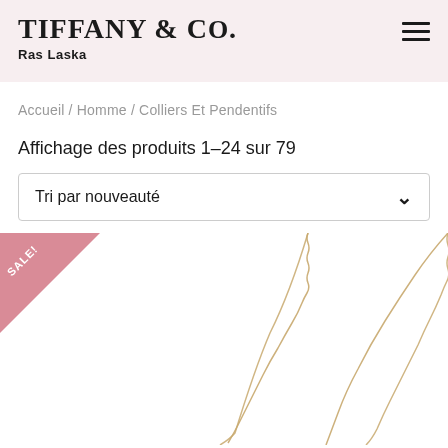TIFFANY & CO. Ras Laska
Accueil / Homme / Colliers Et Pendentifs
Affichage des produits 1–24 sur 79
Tri par nouveauté
[Figure (photo): Product listing page showing gold necklace chains with a pink SALE! corner badge in the bottom section of the page]